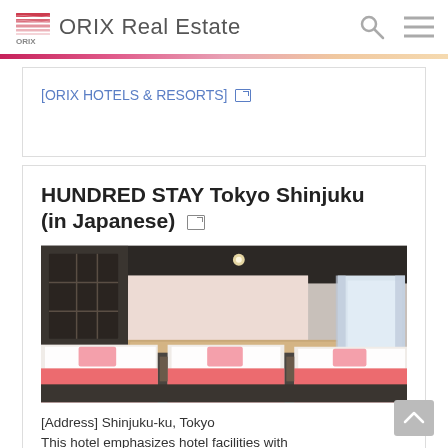ORIX Real Estate
[ORIX HOTELS & RESORTS]
HUNDRED STAY Tokyo Shinjuku (in Japanese)
[Figure (photo): Hotel room with multiple beds with white linens and pink accent pillows and runners, wooden headboard wall, Japanese-style window on left, bright window on right]
[Address] Shinjuku-ku, Tokyo
This hotel emphasizes hotel facilities with